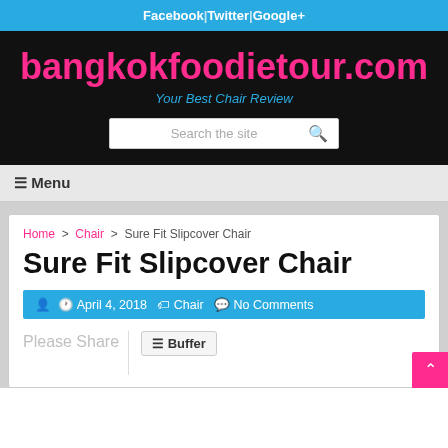Facebook | Twitter | Google+
bangkokfoodietour.com
Your Best Chair Review
Search the site
≡ Menu
Home > Chair > Sure Fit Slipcover Chair
Sure Fit Slipcover Chair
April 4, 2018  Chair  No Comments
Please Share
Buffer